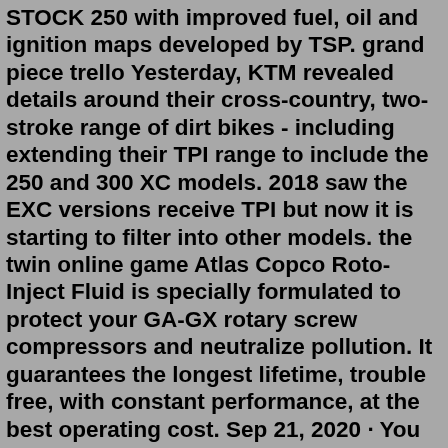STOCK 250 with improved fuel, oil and ignition maps developed by TSP. grand piece trello Yesterday, KTM revealed details around their cross-country, two-stroke range of dirt bikes - including extending their TPI range to include the 250 and 300 XC models. 2018 saw the EXC versions receive TPI but now it is starting to filter into other models. the twin online game Atlas Copco Roto-Inject Fluid is specially formulated to protect your GA-GX rotary screw compressors and neutralize pollution. It guarantees the longest lifetime, trouble free, with constant performance, at the best operating cost. Sep 21, 2020 · You cannot remove the oil tank/ injection system on the TPI bikes. Premix will not make it to the bottom end where it is needed for the crank and rod. The Injectors are not injecting fuel into the bottom end, only the transfer ports. Oil is injected into the throttle body and travels to the bottom end. UPS — Clean and free-feeling power • No glitches in power flow • Six-speed gearbox is spaced wonderfully • Virtually no vibration. In the handling department, the 300XC-